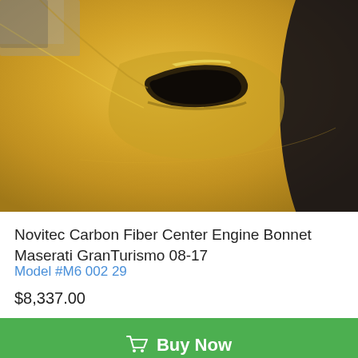[Figure (photo): Close-up photo of a yellow/gold Maserati GranTurismo engine bonnet hood vent, Novitec Carbon Fiber Center Engine Bonnet product photo]
Novitec Carbon Fiber Center Engine Bonnet Maserati GranTurismo 08-17
Model #M6 002 29
$8,337.00
🛒 Buy Now
[Figure (photo): Partial bottom photo of a yellow/gold car part on a striped surface]